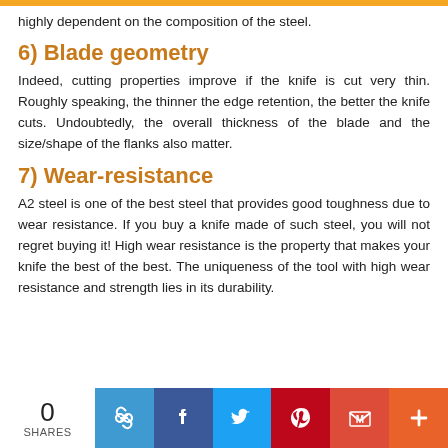highly dependent on the composition of the steel.
6) Blade geometry
Indeed, cutting properties improve if the knife is cut very thin. Roughly speaking, the thinner the edge retention, the better the knife cuts. Undoubtedly, the overall thickness of the blade and the size/shape of the flanks also matter.
7) Wear-resistance
A2 steel is one of the best steel that provides good toughness due to wear resistance. If you buy a knife made of such steel, you will not regret buying it! High wear resistance is the property that makes your knife the best of the best. The uniqueness of the tool with high wear resistance and strength lies in its durability.
0 SHARES